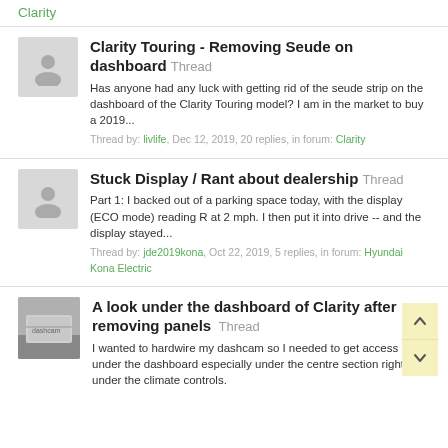Clarity
Clarity Touring - Removing Seude on dashboard Thread
Has anyone had any luck with getting rid of the seude strip on the dashboard of the Clarity Touring model? I am in the market to buy a 2019...
Thread by: livlife, Dec 12, 2019, 20 replies, in forum: Clarity
Stuck Display / Rant about dealership Thread
Part 1: I backed out of a parking space today, with the display (ECO mode) reading R at 2 mph. I then put it into drive -- and the display stayed...
Thread by: jde2019kona, Oct 22, 2019, 5 replies, in forum: Hyundai Kona Electric
A look under the dashboard of Clarity after removing panels Thread
I wanted to hardwire my dashcam so I needed to get access under the dashboard especially under the centre section right under the climate controls.